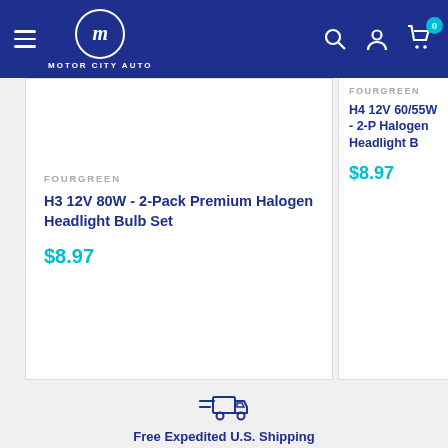Motor City Auto
FOURGREEN
H3 12V 80W - 2-Pack Premium Halogen Headlight Bulb Set
$8.97
FOURGREEN
H4 12V 60/55W - 2-Pack Halogen Headlight Bulb
$8.97
Free Expedited U.S. Shipping